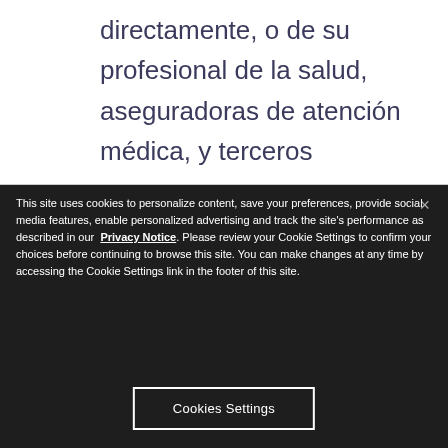directamente, o de su profesional de la salud, aseguradoras de atención médica, y terceros
This site uses cookies to personalize content, save your preferences, provide social media features, enable personalized advertising and track the site's performance as described in our Privacy Notice. Please review your Cookie Settings to confirm your choices before continuing to browse this site. You can make changes at any time by accessing the Cookie Settings link in the footer of this site.
Cookies Settings